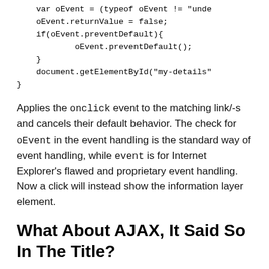var oEvent = (typeof oEvent != "unde
    oEvent.returnValue = false;
    if(oEvent.preventDefault){
            oEvent.preventDefault();
    }
    document.getElementById("my-details"
}
Applies the onclick event to the matching link/-s and cancels their default behavior. The check for oEvent in the event handling is the standard way of event handling, while event is for Internet Explorer’s flawed and proprietary event handling. Now a click will instead show the information layer element.
What About AJAX, It Said So In The Title?
With the good practices and examples I’ve given above, it's